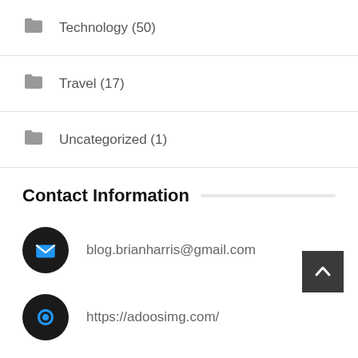Technology (50)
Travel (17)
Uncategorized (1)
Contact Information
blog.brianharris@gmail.com
https://adoosimg.com/
Note:- We are available 365 days in a year.